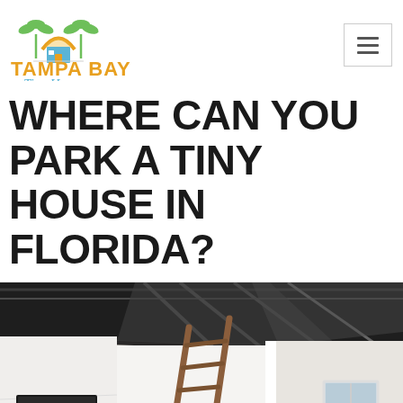Tampa Bay Tiny Homes
WHERE CAN YOU PARK A TINY HOUSE IN FLORIDA?
[Figure (photo): Interior of a tiny house showing a dark metallic ceiling with exposed beams, white walls, a wooden loft ladder, a wall-mounted TV, a small window, and a wooden stool. A back-to-top navigation button (amber/gold) is visible in the lower right corner.]